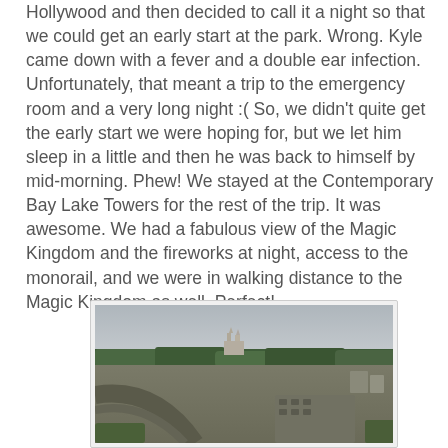Hollywood and then decided to call it a night so that we could get an early start at the park. Wrong. Kyle came down with a fever and a double ear infection. Unfortunately, that meant a trip to the emergency room and a very long night :( So, we didn't quite get the early start we were hoping for, but we let him sleep in a little and then he was back to himself by mid-morning. Phew! We stayed at the Contemporary Bay Lake Towers for the rest of the trip. It was awesome. We had a fabulous view of the Magic Kingdom and the fireworks at night, access to the monorail, and we were in walking distance to the Magic Kingdom as well. Perfect!
[Figure (photo): Aerial or elevated view of the Magic Kingdom area at Walt Disney World, showing the castle silhouette in the distance surrounded by trees, with roads, parking areas, and infrastructure visible in the foreground.]